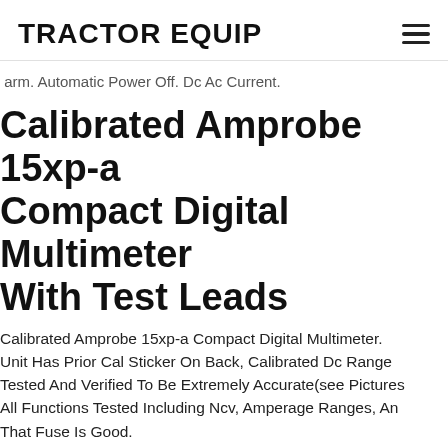TRACTOR EQUIP
arm. Automatic Power Off. Dc Ac Current.
Calibrated Amprobe 15xp-a Compact Digital Multimeter With Test Leads
Calibrated Amprobe 15xp-a Compact Digital Multimeter. Unit Has Prior Cal Sticker On Back, Calibrated Dc Range Tested And Verified To Be Extremely Accurate(see Pictures) All Functions Tested Including Ncv, Amperage Ranges, And That Fuse Is Good.
Cen-tech 7 Function Digital Multimeter Electrical Tester With Test Probes Leads. Cen-tech 7 Function Digital Multimeter Electrical Tester With Test Probes Leads.